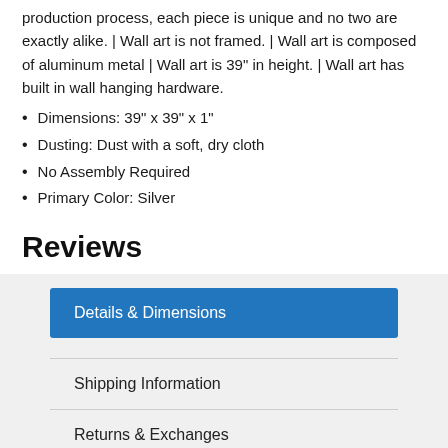production process, each piece is unique and no two are exactly alike. | Wall art is not framed. | Wall art is composed of aluminum metal | Wall art is 39" in height. | Wall art has built in wall hanging hardware.
Dimensions: 39" x 39" x 1"
Dusting: Dust with a soft, dry cloth
No Assembly Required
Primary Color: Silver
Reviews
Details & Dimensions
Shipping Information
Returns & Exchanges